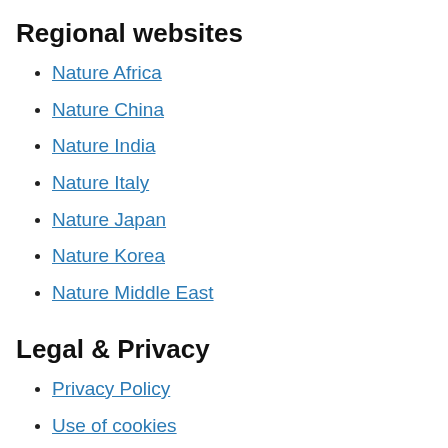Regional websites
Nature Africa
Nature China
Nature India
Nature Italy
Nature Japan
Nature Korea
Nature Middle East
Legal & Privacy
Privacy Policy
Use of cookies
Manage cookies/Do not sell my data
Legal notice
Accessibility statement